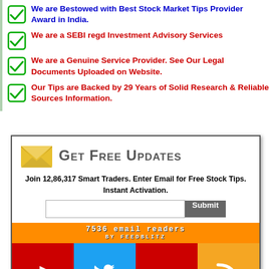We are Bestowed with Best Stock Market Tips Provider Award in India.
We are a SEBI regd Investment Advisory Services
We are a Genuine Service Provider. See Our Legal Documents Uploaded on Website.
Our Tips are Backed by 29 Years of Solid Research & Reliable Sources Information.
[Figure (infographic): Get Free Updates signup box with envelope icon, email input field, Submit button, FeedBlitz subscriber count bar showing 7536 email readers, and social media icons (YouTube, Twitter, Pinterest, RSS)]